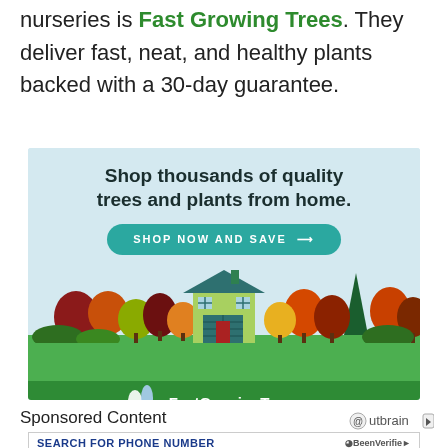nurseries is Fast Growing Trees. They deliver fast, neat, and healthy plants backed with a 30-day guarantee.
[Figure (illustration): Fast Growing Trees advertisement banner showing a house with colorful autumn trees and the tagline 'Shop thousands of quality trees and plants from home.' with a teal 'SHOP NOW AND SAVE' button and the FastGrowingTrees.com logo on a green footer.]
Sponsored Content
[Figure (infographic): Outbrain logo with circular icon and arrow icon to the right of Sponsored Content text.]
[Figure (infographic): BeenVerified phone number search banner with fields for area code, prefix, and number, plus a green Search Owner button.]